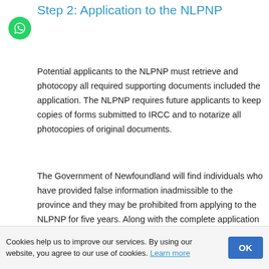Step 2: Application to the NLPNP
Potential applicants to the NLPNP must retrieve and photocopy all required supporting documents included the application. The NLPNP requires future applicants to keep copies of forms submitted to IRCC and to notarize all photocopies of original documents.
The Government of Newfoundland will find individuals who have provided false information inadmissible to the province and they may be prohibited from applying to the NLPNP for five years. Along with the complete application package, the applicant must include a $250 non-refundable application fee payable to the NLPNP.
Step 3: Provincial Nomination from the
Cookies help us to improve our services. By using our website, you agree to our use of cookies. Learn more